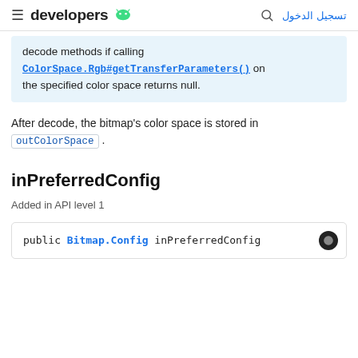≡ developers 🤖  🔍 تسجيل الدخول
decode methods if calling ColorSpace.Rgb#getTransferParameters() on the specified color space returns null.
After decode, the bitmap's color space is stored in outColorSpace .
inPreferredConfig
Added in API level 1
public Bitmap.Config inPreferredConfig